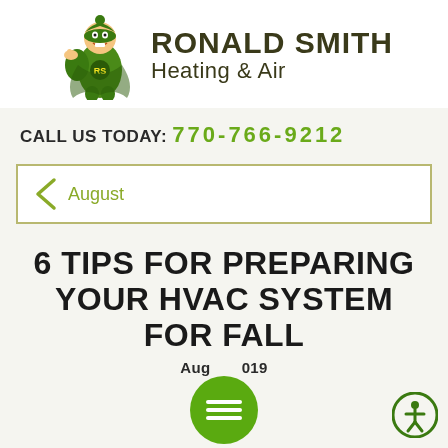[Figure (logo): Ronald Smith Heating & Air company logo with green superhero mascot giving thumbs up and bold company name text]
CALL US TODAY: 770-766-9212
August
6 TIPS FOR PREPARING YOUR HVAC SYSTEM FOR FALL
August 2019